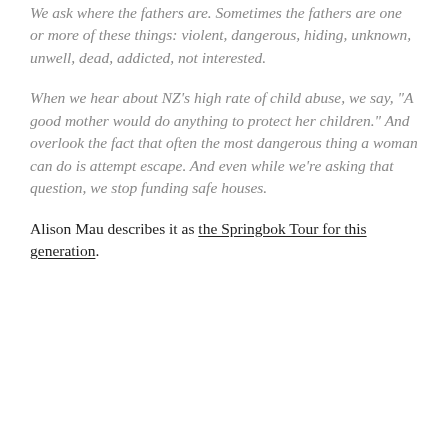We ask where the fathers are. Sometimes the fathers are one or more of these things: violent, dangerous, hiding, unknown, unwell, dead, addicted, not interested.
When we hear about NZ’s high rate of child abuse, we say, “A good mother would do anything to protect her children.” And overlook the fact that often the most dangerous thing a woman can do is attempt escape. And even while we’re asking that question, we stop funding safe houses.
Alison Mau describes it as the Springbok Tour for this generation.